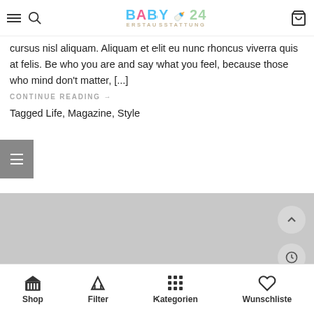Baby Erstausstattung 24 — site header with logo, search, and cart
cursus nisl aliquam. Aliquam et elit eu nunc rhoncus viverra quis at felis. Be who you are and say what you feel, because those who mind don't matter, [...]
CONTINUE READING →
Tagged Life, Magazine, Style
[Figure (screenshot): Gray placeholder image area]
Shop | Filter | Kategorien | Wunschliste